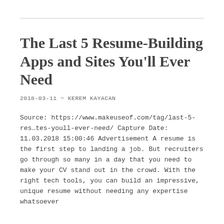The Last 5 Resume-Building Apps and Sites You'll Ever Need
2018-03-11 ~ KEREM KAYACAN
Source: https://www.makeuseof.com/tag/last-5-res...tes-youll-ever-need/ Capture Date: 11.03.2018 15:00:46 Advertisement A resume is the first step to landing a job. But recruiters go through so many in a day that you need to make your CV stand out in the crowd. With the right tech tools, you can build an impressive, unique resume without needing any expertise whatsoever